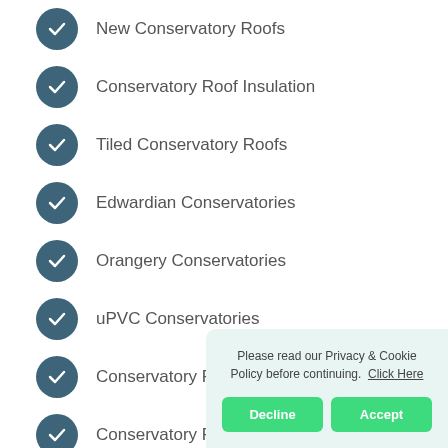New Conservatory Roofs
Conservatory Roof Insulation
Tiled Conservatory Roofs
Edwardian Conservatories
Orangery Conservatories
uPVC Conservatories
Conservatory Prices
Conservatory Prices Fitted
Difference Between C...
Conservatory Ideas
Do You Need Planning Permission for a Conservatory
Please read our Privacy & Cookie Policy before continuing. Click Here
Decline
Accept